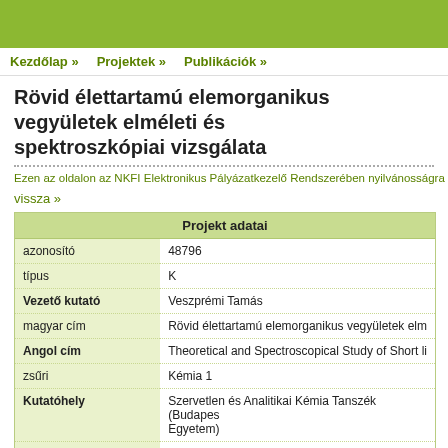Kezdőlap » Projektek » Publikációk »
Rövid élettartamú elemorganikus vegyületek elméleti és spektroszkópiai vizsgálata
Ezen az oldalon az NKFI Elektronikus Pályázatkezelő Rendszerében nyilvánosságra ho
vissza »
| Projekt adatai |  |
| --- | --- |
| azonosító | 48796 |
| típus | K |
| Vezető kutató | Veszprémi Tamás |
| magyar cím | Rövid élettartamú elemorganikus vegyületek elm |
| Angol cím | Theoretical and Spectroscopical Study of Short li |
| zsűri | Kémia 1 |
| Kutatóhely | Szervetlen és Analitikai Kémia Tanszék (Budapes Egyetem) |
| résztvevők | Bajor Gábor
Nyakas Péter
Oláh Julianna
Olasz András Miklós
Pintér Balázs |